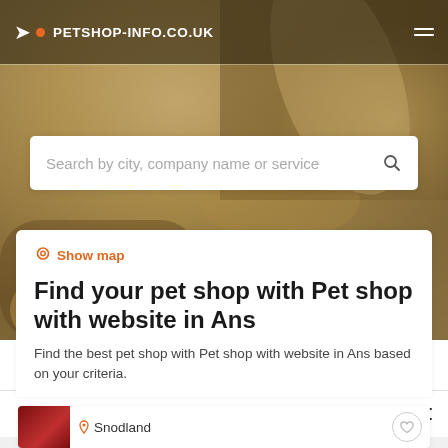PETSHOP-INFO.CO.UK
[Figure (screenshot): Hero background photo of a golden/cream colored dog or pet animal, blurred]
Search by city, company name or service
Show map
Find your pet shop with Pet shop with website in Ans
Find the best pet shop with Pet shop with website in Ans based on your criteria.
Filters
Snodland